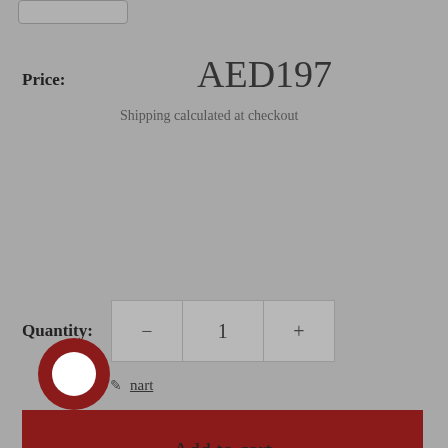[Figure (other): Input box / form field at top left]
Price:	AED197
Shipping calculated at checkout
Quantity:	1
Add to cart
Buy it now
[Figure (other): Chat bubble icon (red circle with white speech bubble)]
nart